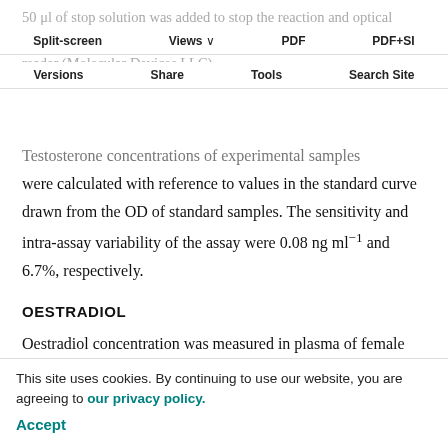Split-screen  Views  PDF  PDF+SI
Versions  Share  Tools  Search Site
50 μl of stop solution was added to stop the reaction and optical density (OD) was read at 405 nm with a SpectraMax M2e microplate reader (Molecular Devices LLC).
Testosterone concentrations of experimental samples were calculated with reference to values in the standard curve drawn from the OD of standard samples. The sensitivity and intra-assay variability of the assay were 0.08 ng ml⁻¹ and 6.7%, respectively.
OESTRADIOL
Oestradiol concentration was measured in plasma of female birds using an enzyme immunoassay kit (Estradiol EIA Kit, Cayman Chemical Company, Ann Arbor, MI, USA) according to the manufacturer's instructions (Ubuka et al., 2014). Briefly, 100 or 50 μl of EIA buffer was added to NSB and Bo wells in a 96-well plate, respectively; 50 μl of
This site uses cookies. By continuing to use our website, you are agreeing to our privacy policy.
Accept